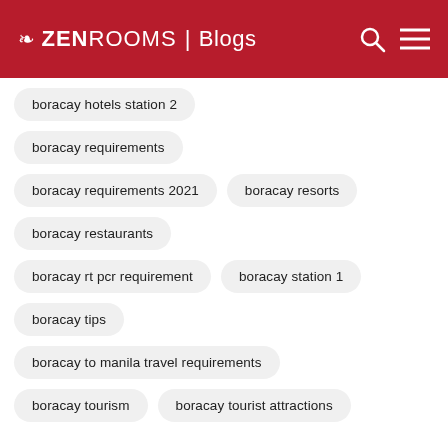ZenRooms | Blogs
boracay hotels station 2
boracay requirements
boracay requirements 2021
boracay resorts
boracay restaurants
boracay rt pcr requirement
boracay station 1
boracay tips
boracay to manila travel requirements
boracay tourism
boracay tourist attractions